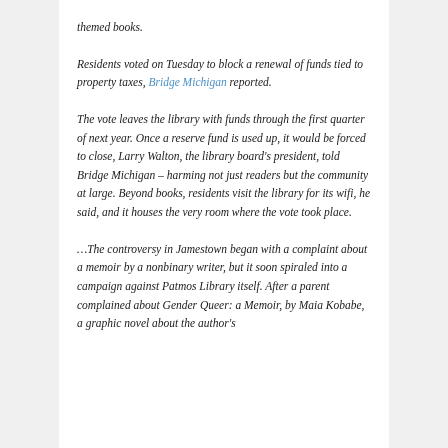themed books.
Residents voted on Tuesday to block a renewal of funds tied to property taxes, Bridge Michigan reported.
The vote leaves the library with funds through the first quarter of next year. Once a reserve fund is used up, it would be forced to close, Larry Walton, the library board's president, told Bridge Michigan – harming not just readers but the community at large. Beyond books, residents visit the library for its wifi, he said, and it houses the very room where the vote took place.
…The controversy in Jamestown began with a complaint about a memoir by a nonbinary writer, but it soon spiraled into a campaign against Patmos Library itself. After a parent complained about Gender Queer: a Memoir, by Maia Kobabe, a graphic novel about the author's